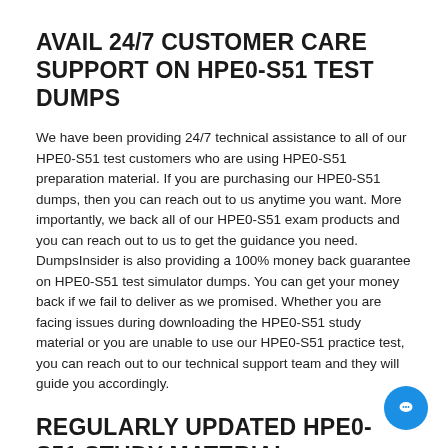AVAIL 24/7 CUSTOMER CARE SUPPORT ON HPE0-S51 TEST DUMPS
We have been providing 24/7 technical assistance to all of our HPE0-S51 test customers who are using HPE0-S51 preparation material. If you are purchasing our HPE0-S51 dumps, then you can reach out to us anytime you want. More importantly, we back all of our HPE0-S51 exam products and you can reach out to us to get the guidance you need. DumpsInsider is also providing a 100% money back guarantee on HPE0-S51 test simulator dumps. You can get your money back if we fail to deliver as we promised. Whether you are facing issues during downloading the HPE0-S51 study material or you are unable to use our HPE0-S51 practice test, you can reach out to our technical support team and they will guide you accordingly.
REGULARLY UPDATED HPE0-S51 STUDY MATERIAL